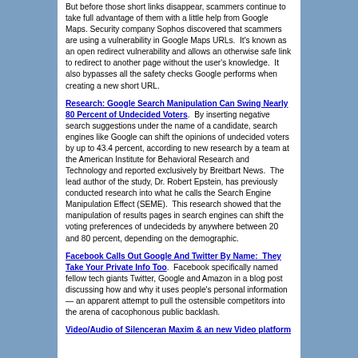But before those short links disappear, scammers continue to take full advantage of them with a little help from Google Maps. Security company Sophos discovered that scammers are using a vulnerability in Google Maps URLs.  It's known as an open redirect vulnerability and allows an otherwise safe link to redirect to another page without the user's knowledge.  It also bypasses all the safety checks Google performs when creating a new short URL.
Research: Google Search Manipulation Can Swing Nearly 80 Percent of Undecided Voters.  By inserting negative search suggestions under the name of a candidate, search engines like Google can shift the opinions of undecided voters by up to 43.4 percent, according to new research by a team at the American Institute for Behavioral Research and Technology and reported exclusively by Breitbart News.  The lead author of the study, Dr. Robert Epstein, has previously conducted research into what he calls the Search Engine Manipulation Effect (SEME).  This research showed that the manipulation of results pages in search engines can shift the voting preferences of undecideds by anywhere between 20 and 80 percent, depending on the demographic.
Facebook Calls Out Google And Twitter By Name:  They Take Your Private Info Too.  Facebook specifically named fellow tech giants Twitter, Google and Amazon in a blog post discussing how and why it uses people's personal information — an apparent attempt to pull the ostensible competitors into the arena of cacophonous public backlash.
Video/Audio of Silenceran Maxim & an new Video platform